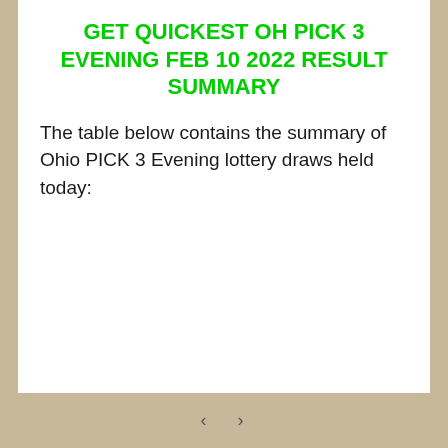GET QUICKEST OH PICK 3 EVENING FEB 10 2022 RESULT SUMMARY
The table below contains the summary of Ohio PICK 3 Evening lottery draws held today: